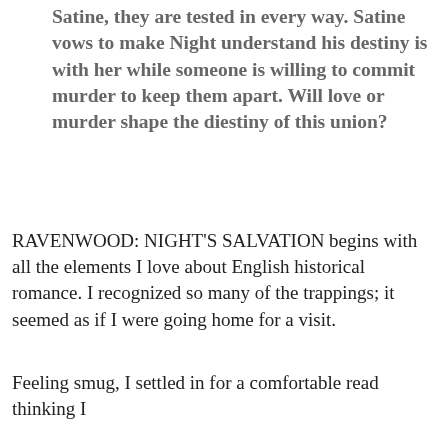Satine, they are tested in every way. Satine vows to make Night understand his destiny is with her while someone is willing to commit murder to keep them apart. Will love or murder shape the diestiny of this union?
RAVENWOOD: NIGHT'S SALVATION begins with all the elements I love about English historical romance. I recognized so many of the trappings; it seemed as if I were going home for a visit.
Feeling smug, I settled in for a comfortable read thinking I could guess the way events would unfold. Was I in for some emotionally fraught surprises!
A subtle hint of mystery about family lineage slips into the story. A 'white witch' who steals my heart arrives on the scene. While Mrs. Sorensen moves gently along, she creates a cast of characters whom are many faceted. They show strengths and weaknesses that make them come alive,